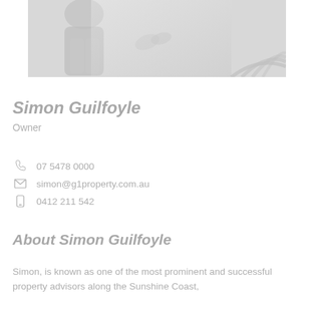[Figure (photo): Greyscale photo of a person, partially visible, with decorative arc shapes in the bottom right corner]
Simon Guilfoyle
Owner
07 5478 0000
simon@g1property.com.au
0412 211 542
About Simon Guilfoyle
Simon, is known as one of the most prominent and successful property advisors along the Sunshine Coast,